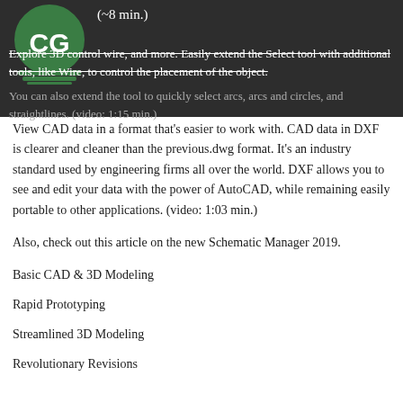[Figure (logo): CG logo — circular green badge with white 'CG' letters and decorative base]
(~8 min.)
Explore 3D control wire, and more. Easily extend the Select tool with additional tools, like Wire, to control the placement of the object.
You can also extend the tool to quickly select arcs, arcs and circles, and straightlines. (video: 1:15 min.)
View CAD data in a format that's easier to work with. CAD data in DXF is clearer and cleaner than the previous.dwg format. It's an industry standard used by engineering firms all over the world. DXF allows you to see and edit your data with the power of AutoCAD, while remaining easily portable to other applications. (video: 1:03 min.)
Also, check out this article on the new Schematic Manager 2019.
Basic CAD & 3D Modeling
Rapid Prototyping
Streamlined 3D Modeling
Revolutionary Revisions